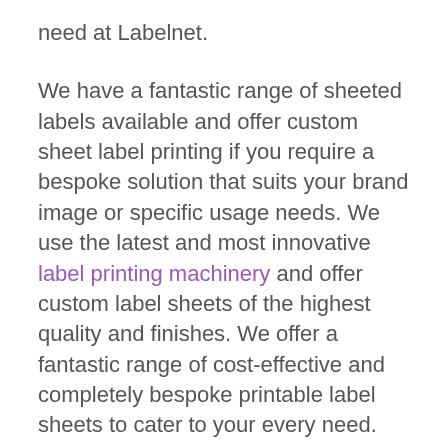need at Labelnet.
We have a fantastic range of sheeted labels available and offer custom sheet label printing if you require a bespoke solution that suits your brand image or specific usage needs. We use the latest and most innovative label printing machinery and offer custom label sheets of the highest quality and finishes. We offer a fantastic range of cost-effective and completely bespoke printable label sheets to cater to your every need.
Why not request a free sample pack to see for yourself the fantastic quality of our printable label sheets. It means you can also test out the sheet label printing process at your home or office. To get a quote for your custom label sheets, contact Labelnet today and we'll be more than happy to